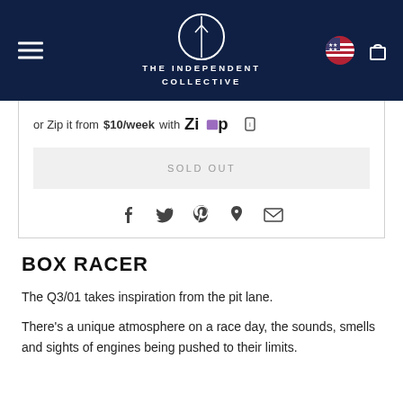THE INDEPENDENT COLLECTIVE
or Zip it from $10/week with Zip
SOLD OUT
[Figure (other): Social share icons: Facebook, Twitter, Pinterest, Fancy, Email]
BOX RACER
The Q3/01 takes inspiration from the pit lane.
There's a unique atmosphere on a race day, the sounds, smells and sights of engines being pushed to their limits.